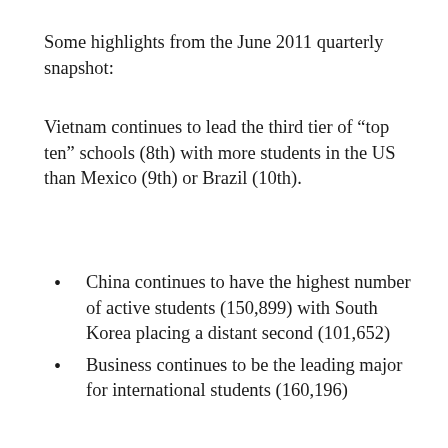Some highlights from the June 2011 quarterly snapshot:
Vietnam continues to lead the third tier of “top ten” schools (8th) with more students in the US than Mexico (9th) or Brazil (10th).
China continues to have the highest number of active students (150,899) with South Korea placing a distant second (101,652)
Business continues to be the leading major for international students (160,196)